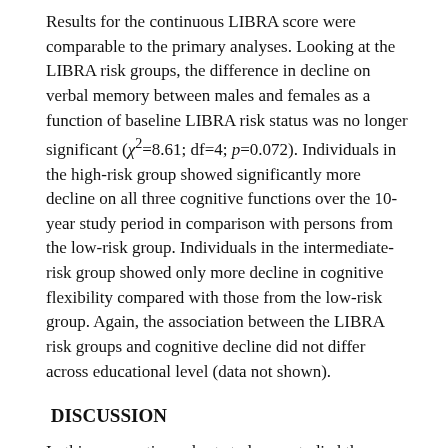Results for the continuous LIBRA score were comparable to the primary analyses. Looking at the LIBRA risk groups, the difference in decline on verbal memory between males and females as a function of baseline LIBRA risk status was no longer significant (χ²=8.61; df=4; p=0.072). Individuals in the high-risk group showed significantly more decline on all three cognitive functions over the 10-year study period in comparison with persons from the low-risk group. Individuals in the intermediate-risk group showed only more decline in cognitive flexibility compared with those from the low-risk group. Again, the association between the LIBRA risk groups and cognitive decline did not differ across educational level (data not shown).
DISCUSSION
In this prospective cohort study, we studied the relationship between a modifiable risk score and